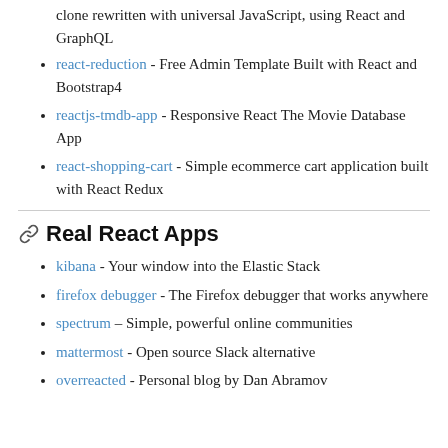clone rewritten with universal JavaScript, using React and GraphQL
react-reduction - Free Admin Template Built with React and Bootstrap4
reactjs-tmdb-app - Responsive React The Movie Database App
react-shopping-cart - Simple ecommerce cart application built with React Redux
Real React Apps
kibana - Your window into the Elastic Stack
firefox debugger - The Firefox debugger that works anywhere
spectrum – Simple, powerful online communities
mattermost - Open source Slack alternative
overreacted - Personal blog by Dan Abramov